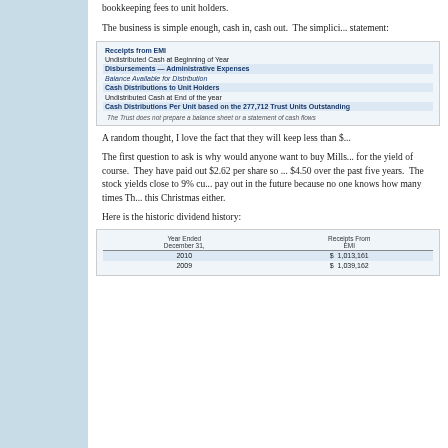bookkeeping fees to unit holders.
The business is simple enough, cash in, cash out.  The simplici... statement:
|  |  |
| --- | --- |
| Receipts from EMI |  |
| Undistributed Cash at Beginning of Year |  |
| Disbursements — Administrative Expenses |  |
| Balance Available for Distribution |  |
| Cash Distributions to Unit Holders |  |
| Undistributed Cash at End of the year |  |
| Cash Distributions Per Unit based on the 277,712 Trust Units Outstanding |  |
The Trust does not prepare a balance sheet or a statement of cash flows
A random thought, I love the fact that they will keep less than $...
The first question to ask is why would anyone want to buy Mills... for the yield of course.  They have paid out $2.62 per share so ... $4.50 over the past five years.  The stock yields close to 9% cu... pay out in the future because no one knows how many times Th... this Christmas either.
Here is the historic dividend history:
| Year Ended
December 31, | Receipts From
EMI |
| --- | --- |
| 2010 | $ 1,013,161 |
| 2009 | $ 1,039,162 |